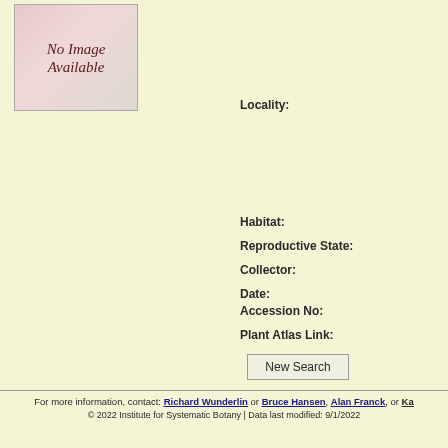[Figure (photo): No Image Available placeholder with floral background]
Locality:
Habitat:
Reproductive State:
Collector:
Date:
Accession No:
Plant Atlas Link:
New Search
For more information, contact: Richard Wunderlin or Bruce Hansen, Alan Franck, or Ka
© 2022 Institute for Systematic Botany | Data last modified: 9/1/2022